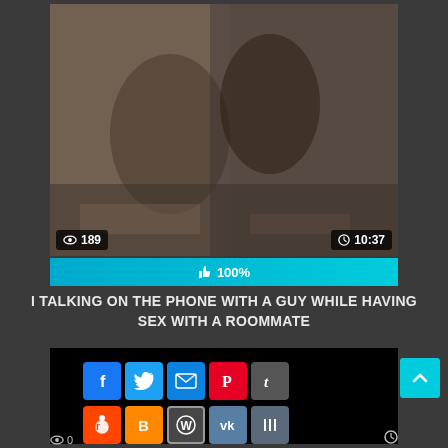[Figure (screenshot): Video thumbnail showing people on a bed, with view count 189 and duration 10:37]
100%
I TALKING ON THE PHONE WITH A GUY WHILE HAVING SEX WITH A ROOMMATE
[Figure (screenshot): Black panel with social sharing icons: Facebook, Twitter, Email, Pinterest, Tumblr, Reddit, Blogger, WordPress, VK, Share-more; scroll-to-top button]
0